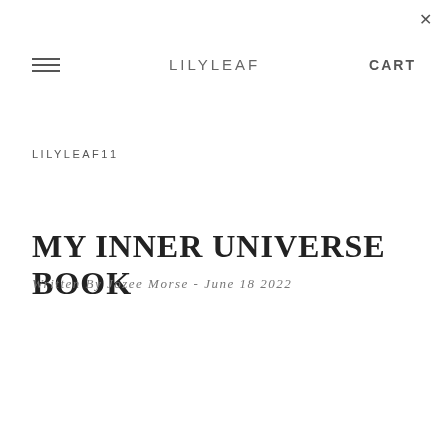×
≡  LILYLEAF  CART
LILYLEAF11
MY INNER UNIVERSE BOOK
Written By Jozee Morse - June 18 2022